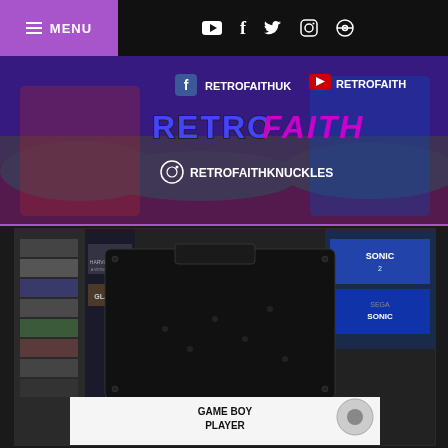MENU navigation bar with social icons: YouTube, Facebook, Twitter, Instagram, Pokeball
[Figure (illustration): RetroFaith website banner with Knuckles and Sonic characters, showing social media handles: RETROFAITHUK (Facebook), RETROFAITH (YouTube), RETROFAITHKNUCKLES (Instagram), with RETRO FAITH logo text]
[Figure (photo): Photo of a black Game Boy Player device for GameCube, sitting on top of a Game Boy Player box, with various retro game cartridges visible in the background including Sonic, Gladius, and Harvest Moon games]